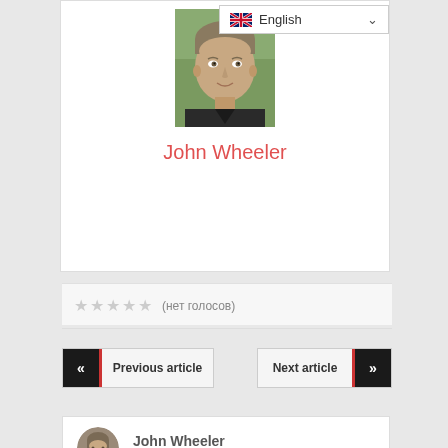[Figure (photo): Profile photo of John Wheeler - middle-aged man outdoors]
English (language selector dropdown)
John Wheeler
★★★★★ (нет голосов)
«  Previous article
Next article  »
[Figure (photo): Small circular avatar photo of John Wheeler]
John Wheeler
admin@moonshine-maker.com